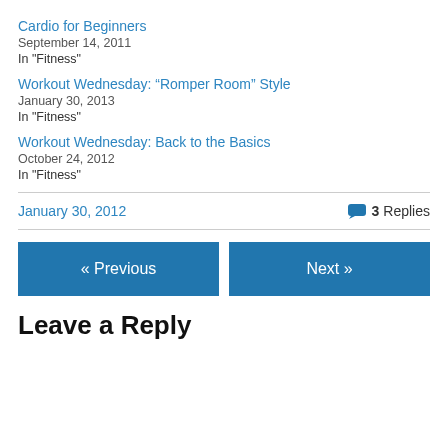Cardio for Beginners
September 14, 2011
In "Fitness"
Workout Wednesday: “Romper Room” Style
January 30, 2013
In "Fitness"
Workout Wednesday: Back to the Basics
October 24, 2012
In "Fitness"
January 30, 2012
3 Replies
« Previous
Next »
Leave a Reply